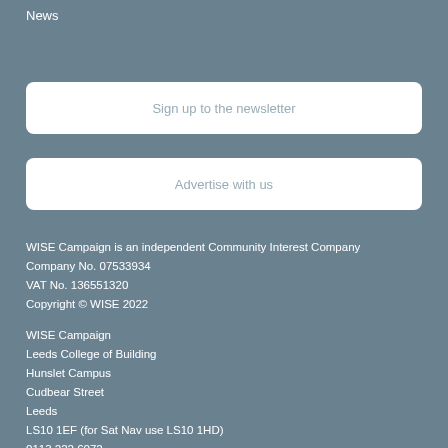News
Sign up to the newsletter
Advertise with us
WISE Campaign is an independent Community Interest Company
Company No. 07533934
VAT No. 136551320
Copyright © WISE 2022
WISE Campaign
Leeds College of Building
Hunslet Campus
Cudbear Street
Leeds
LS10 1EF (for Sat Nav use LS10 1HD)
0113 222 6072